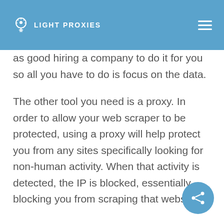LIGHT PROXIES
as good hiring a company to do it for you so all you have to do is focus on the data.
The other tool you need is a proxy. In order to allow your web scraper to be protected, using a proxy will help protect you from any sites specifically looking for non-human activity. When that activity is detected, the IP is blocked, essentially blocking you from scraping that website.